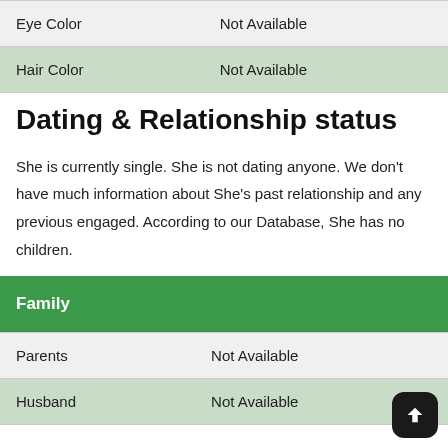| Eye Color | Not Available |
| Hair Color | Not Available |
Dating & Relationship status
She is currently single. She is not dating anyone. We don't have much information about She's past relationship and any previous engaged. According to our Database, She has no children.
| Family |
| --- |
| Parents | Not Available |
| Husband | Not Available |